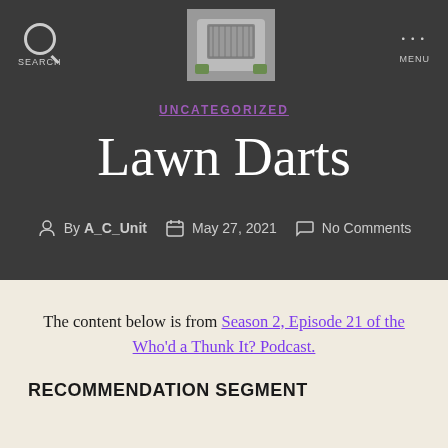SEARCH | [logo image] | MENU
UNCATEGORIZED
Lawn Darts
By A_C_Unit   May 27, 2021   No Comments
The content below is from Season 2, Episode 21 of the Who'd a Thunk It? Podcast.
RECOMMENDATION SEGMENT